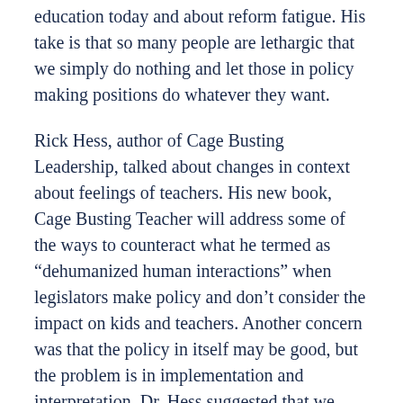education today and about reform fatigue. His take is that so many people are lethargic that we simply do nothing and let those in policy making positions do whatever they want.
Rick Hess, author of Cage Busting Leadership, talked about changes in context about feelings of teachers. His new book, Cage Busting Teacher will address some of the ways to counteract what he termed as “dehumanized human interactions” when legislators make policy and don’t consider the impact on kids and teachers. Another concern was that the policy in itself may be good, but the problem is in implementation and interpretation. Dr. Hess suggested that we should offer practical solutions and alternatives as we met with our legislators and not to just ask for more money. He concluded with “policy can make people do something, but it can’t make people do it well”. Policy can create conditions, but can't count on policy to make a difference.